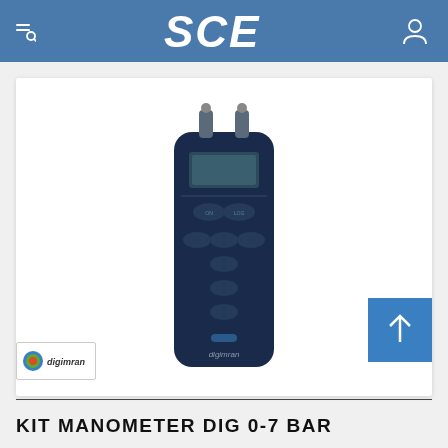SCE
[Figure (photo): A dark navy blue handheld digital manometer device (digimran brand) with dual port connectors on top, an LCD display screen, and multiple oval-shaped buttons arranged on the front face. The device has a rounded rectangular form factor.]
[Figure (logo): Skytron/digimran brand logo thumbnail — small colorful circular logo with brand name text]
KIT MANOMETER DIG 0-7 BAR